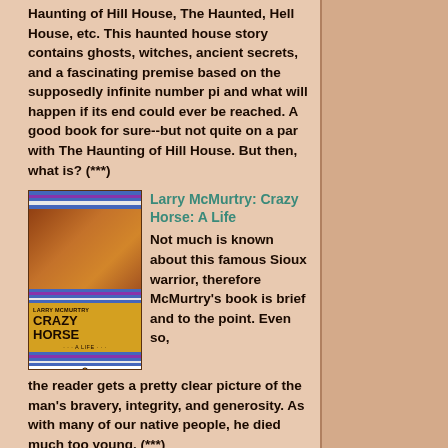Haunting of Hill House, The Haunted, Hell House, etc. This haunted house story contains ghosts, witches, ancient secrets, and a fascinating premise based on the supposedly infinite number pi and what will happen if its end could ever be reached. A good book for sure--but not quite on a par with The Haunting of Hill House. But then, what is? (***)
[Figure (photo): Book cover of 'Crazy Horse: A Life' by Larry McMurtry, Penguin Books. Features colored horizontal stripes at top and bottom, Native American art in the middle section, yellow background with bold title text.]
Larry McMurtry: Crazy Horse: A Life
Not much is known about this famous Sioux warrior, therefore McMurtry's book is brief and to the point. Even so, the reader gets a pretty clear picture of the man's bravery, integrity, and generosity. As with many of our native people, he died much too young. (***)
[Figure (photo): Partial book cover visible at bottom, green/dark tones, book by Louis Bayard.]
Louis Bayard: